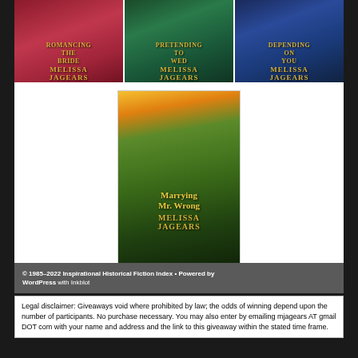[Figure (illustration): Three romance novel book covers side by side: 'Romancing the Bride' by Melissa Jagears (red/magenta background), 'Pretending to Wed' by Melissa Jagears (dark green background), 'Depending on You' by Melissa Jagears (dark blue background)]
[Figure (illustration): Romance novel book cover 'Marrying Mr. Wrong' by Melissa Jagears, centered below the three covers. Features a woman in white Victorian dress and man in dark suit with sunset background.]
© 1985–2022 Inspirational Historical Fiction Index • Powered by WordPress with Inkblot
Legal disclaimer: Giveaways void where prohibited by law; the odds of winning depend upon the number of participants. No purchase necessary. You may also enter by emailing mjagears AT gmail DOT com with your name and address and the link to this giveaway within the stated time frame.